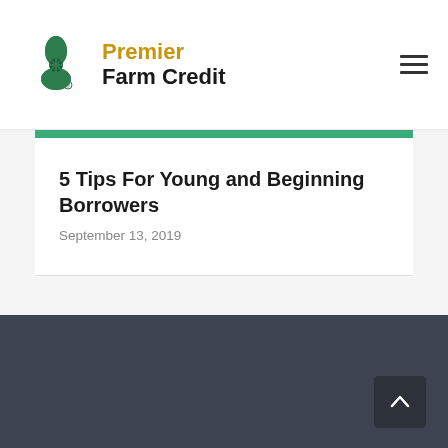Premier Farm Credit
5 Tips For Young and Beginning Borrowers
September 13, 2019